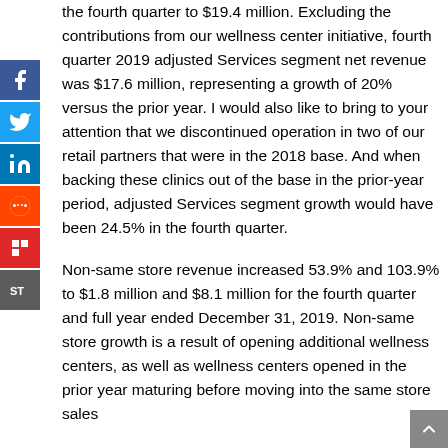the fourth quarter to $19.4 million. Excluding the contributions from our wellness center initiative, fourth quarter 2019 adjusted Services segment net revenue was $17.6 million, representing a growth of 20% versus the prior year. I would also like to bring to your attention that we discontinued operation in two of our retail partners that were in the 2018 base. And when backing these clinics out of the base in the prior-year period, adjusted Services segment growth would have been 24.5% in the fourth quarter.
Non-same store revenue increased 53.9% and 103.9% to $1.8 million and $8.1 million for the fourth quarter and full year ended December 31, 2019. Non-same store growth is a result of opening additional wellness centers, as well as wellness centers opened in the prior year maturing before moving into the same store sales